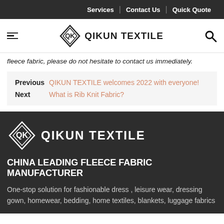Services | Contact Us | Quick Quote
[Figure (logo): Qikun Textile logo with diamond-shaped QK emblem and text QIKUN TEXTILE, with hamburger menu icon on left and search icon on right]
fleece fabric, please do not hesitate to contact us immediately.
Previous QIKUN TEXTILE welcomes 2022 with everyone!
Next What is Rib Knit Fabric?
[Figure (logo): Qikun Textile footer logo: white diamond QK emblem with QIKUN TEXTILE text in white on dark background]
CHINA LEADING FLEECE FABRIC MANUFACTURER
One-stop solution for fashionable dress , leisure wear, dressing gown, homewear, bedding, home textiles, blankets, luggage fabrics